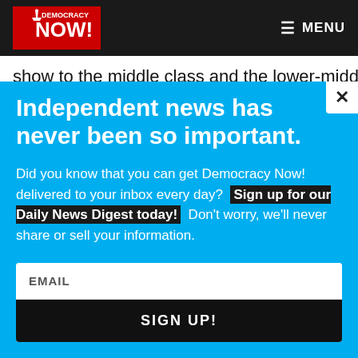Democracy Now! | MENU
show to the middle class and the lower-middle class and
Independent news has never been so important.
Did you know that you can get Democracy Now! delivered to your inbox every day? Sign up for our Daily News Digest today! Don't worry, we'll never share or sell your information.
EMAIL
SIGN UP!